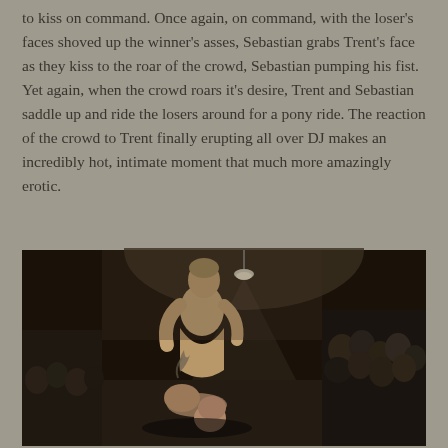to kiss on command. Once again, on command, with the loser's faces shoved up the winner's asses, Sebastian grabs Trent's face as they kiss to the roar of the crowd, Sebastian pumping his fist. Yet again, when the crowd roars it's desire, Trent and Sebastian saddle up and ride the losers around for a pony ride. The reaction of the crowd to Trent finally erupting all over DJ makes an incredibly hot, intimate moment that much more amazingly erotic.
[Figure (photo): A wrestling match scene showing two muscular men, one standing over the other who is on the ground, with a crowd of spectators visible in the dark background. A single light hangs from the ceiling.]